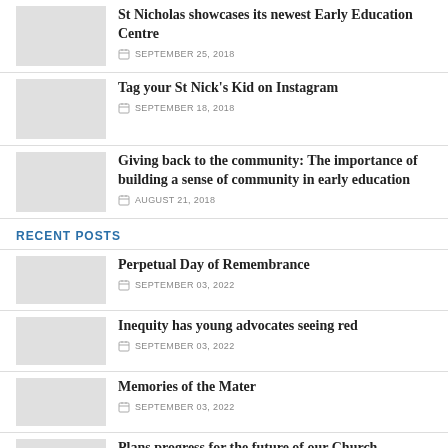St Nicholas showcases its newest Early Education Centre — SEPTEMBER 25, 2018
Tag your St Nick's Kid on Instagram — SEPTEMBER 18, 2018
Giving back to the community: The importance of building a sense of community in early education — AUGUST 21, 2018
RECENT POSTS
Perpetual Day of Remembrance — SEPTEMBER 03, 2022
Inequity has young advocates seeing red — SEPTEMBER 03, 2022
Memories of the Mater — SEPTEMBER 03, 2022
Plans progress for the future of our Church — SEPTEMBER 03, 2022